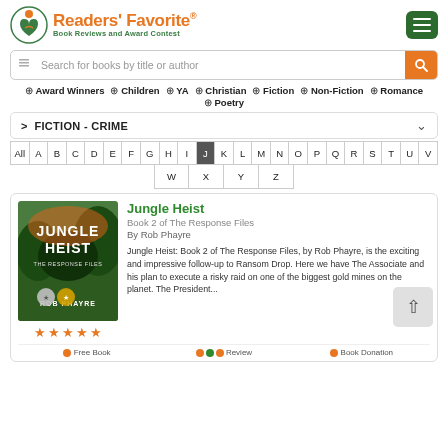Readers' Favorite® — Book Reviews and Award Contest
Search for books by title or author
⊕ Award Winners  ⊕ Children  ⊕ YA  ⊕ Christian  ⊕ Fiction  ⊕ Non-Fiction  ⊕ Romance  ⊕ Poetry
> FICTION - CRIME
All A B C D E F G H I J K L M N O P Q R S T U V W X Y Z
Jungle Heist
Book 2 of The Response Files
By Rob Phayre
Jungle Heist: Book 2 of The Response Files, by Rob Phayre, is the exciting and impressive follow-up to Ransom Drop. Here we have The Associate and his plan to execute a risky raid on one of the biggest gold mines on the planet. The President...
★★★★★
Free Book   Review   Book Donation